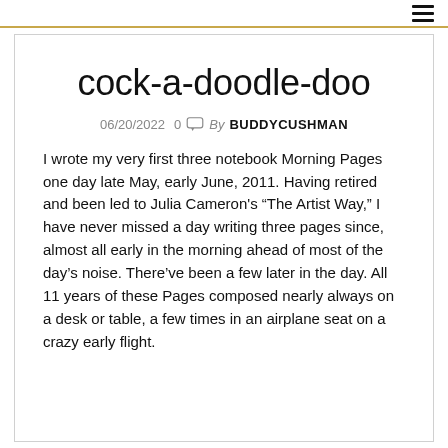cock-a-doodle-doo
06/20/2022  0  By BUDDYCUSHMAN
I wrote my very first three notebook Morning Pages one day late May, early June, 2011. Having retired and been led to Julia Cameron's “The Artist Way,” I have never missed a day writing three pages since, almost all early in the morning ahead of most of the day’s noise. There’ve been a few later in the day. All 11 years of these Pages composed nearly always on a desk or table, a few times in an airplane seat on a crazy early flight.